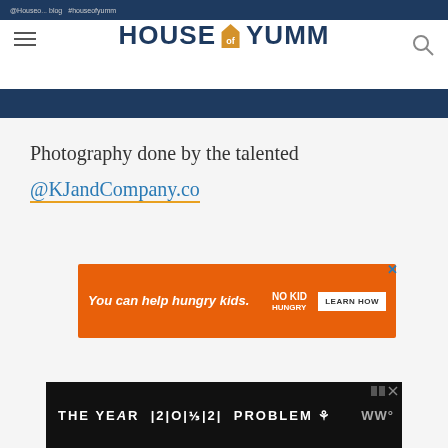House of Yumm
Photography done by the talented @KJandCompany.co
[Figure (screenshot): Orange advertisement banner: 'You can help hungry kids.' with No Kid Hungry logo and 'LEARN HOW' button]
[Figure (screenshot): Black bottom advertisement banner: 'THE YEAR | 2 | O | 3 | 2 | PROBLEM' with icon and WW logo]